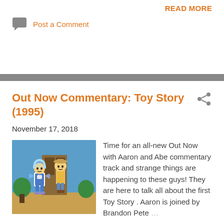READ MORE
Post a Comment
Out Now Commentary: Toy Story (1995)
November 17, 2018
[Figure (illustration): Animated scene from Toy Story showing Buzz Lightyear and Woody]
Time for an all-new Out Now with Aaron and Abe commentary track and strange things are happening to these guys! They are here to talk all about the first Toy Story . Aaron is joined by Brandon Pete …
By Aaron Neuwirth
READ MORE
Post a Comment